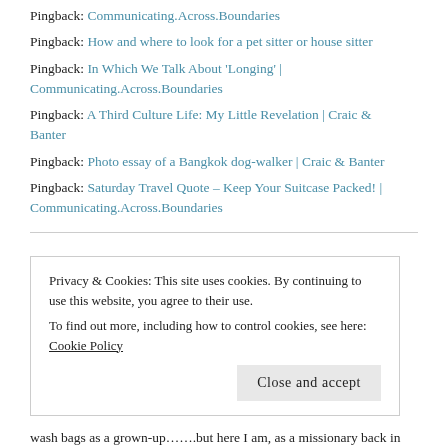Pingback: Communicating.Across.Boundaries
Pingback: How and where to look for a pet sitter or house sitter
Pingback: In Which We Talk About 'Longing' | Communicating.Across.Boundaries
Pingback: A Third Culture Life: My Little Revelation | Craic & Banter
Pingback: Photo essay of a Bangkok dog-walker | Craic & Banter
Pingback: Saturday Travel Quote – Keep Your Suitcase Packed! | Communicating.Across.Boundaries
Karen Loudon
Privacy & Cookies: This site uses cookies. By continuing to use this website, you agree to their use. To find out more, including how to control cookies, see here: Cookie Policy
wash bags as a grown-up…….but here I am, as a missionary back in